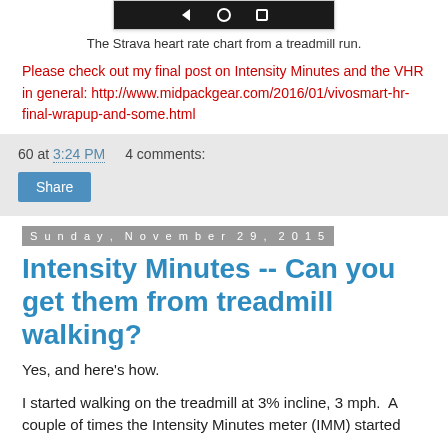[Figure (screenshot): Phone navigation bar (back, home, recent buttons) on black background, part of a cropped mobile screenshot showing the Strava heart rate chart UI]
The Strava heart rate chart from a treadmill run.
Please check out my final post on Intensity Minutes and the VHR in general: http://www.midpackgear.com/2016/01/vivosmart-hr-final-wrapup-and-some.html
60 at 3:24 PM    4 comments:
Share
Sunday, November 29, 2015
Intensity Minutes -- Can you get them from treadmill walking?
Yes, and here's how.
I started walking on the treadmill at 3% incline, 3 mph.  A couple of times the Intensity Minutes meter (IMM) started